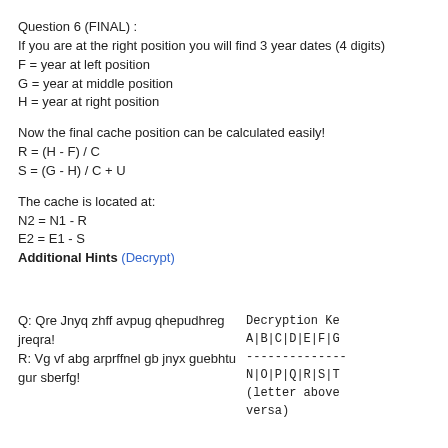Question 6 (FINAL) :
If you are at the right position you will find 3 year dates (4 digits)
F = year at left position
G = year at middle position
H = year at right position
Now the final cache position can be calculated easily!
R = (H - F) / C
S = (G - H) / C + U
The cache is located at:
N2 = N1 - R
E2 = E1 - S
Additional Hints (Decrypt)
Q: Qre Jnyq zhff avpug qhepudhreg jreqra!
R: Vg vf abg arprffnel gb jnyx guebhtu gur sberfg!
Decryption Key
A|B|C|D|E|F|G
--------------
N|O|P|Q|R|S|T
(letter above becomes below, and vice versa)